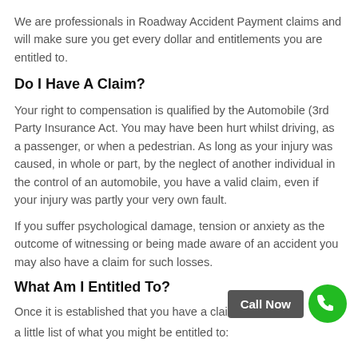We are professionals in Roadway Accident Payment claims and will make sure you get every dollar and entitlements you are entitled to.
Do I Have A Claim?
Your right to compensation is qualified by the Automobile (3rd Party Insurance Act. You may have been hurt whilst driving, as a passenger, or when a pedestrian. As long as your injury was caused, in whole or part, by the neglect of another individual in the control of an automobile, you have a valid claim, even if your injury was partly your very own fault.
If you suffer psychological damage, tension or anxiety as the outcome of witnessing or being made aware of an accident you may also have a claim for such losses.
What Am I Entitled To?
Once it is established that you have a claim, listed below is a little list of what you might be entitled to: